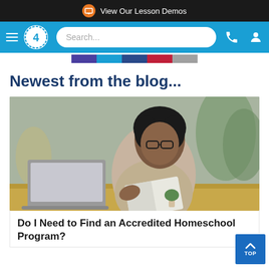View Our Lesson Demos
[Figure (screenshot): Navigation bar with hamburger menu, logo with number 4, search bar, phone and user icons on blue background]
[Figure (photo): Woman with glasses and natural hair reading a book while sitting at a table with a laptop, indoor setting with plants in background]
Newest from the blog...
Do I Need to Find an Accredited Homeschool Program?